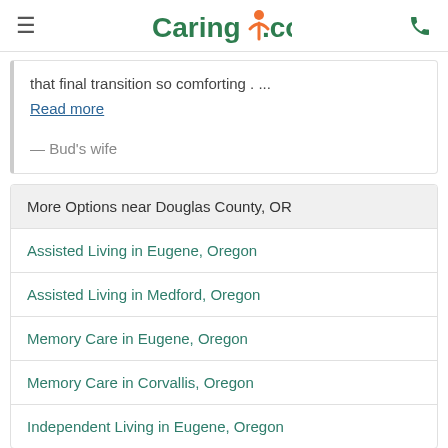Caring.com
that final transition so comforting . ... Read more
— Bud's wife
| More Options near Douglas County, OR |
| --- |
| Assisted Living in Eugene, Oregon |
| Assisted Living in Medford, Oregon |
| Memory Care in Eugene, Oregon |
| Memory Care in Corvallis, Oregon |
| Independent Living in Eugene, Oregon |